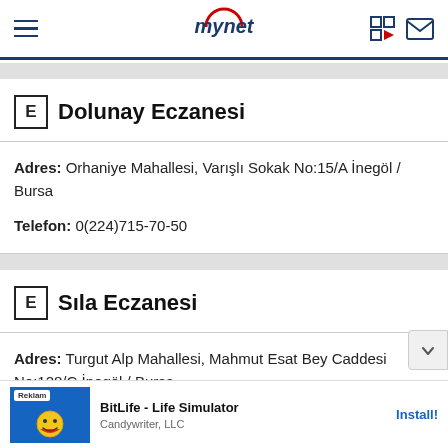mynet
E Dolunay Eczanesi
Adres: Orhaniye Mahallesi, Varışlı Sokak No:15/A İnegöl / Bursa
Telefon: 0(224)715-70-50
E Sıla Eczanesi
Adres: Turgut Alp Mahallesi, Mahmut Esat Bey Caddesi No:128/C İnegöl / Bursa
[Figure (screenshot): Ad banner for BitLife - Life Simulator by Candywriter, LLC with Install button]